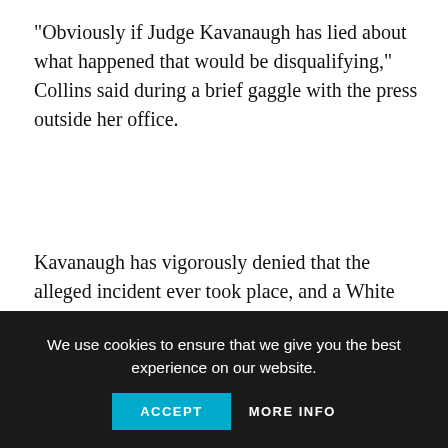“Obviously if Judge Kavanaugh has lied about what happened that would be disqualifying,” Collins said during a brief gaggle with the press outside her office.
Kavanaugh has vigorously denied that the alleged incident ever took place, and a White House official told NBC News Monday that Kavanaugh has said that he was not at the party. Kavanaugh gave the same account to Sen. Orrin Hatch, R-Utah, a Hatch aide told NBC News.
Collins also continued to demand a hearing on the issue with Kavanaugh and his accuser, Christine Blasey Ford, a position
We use cookies to ensure that we give you the best experience on our website.